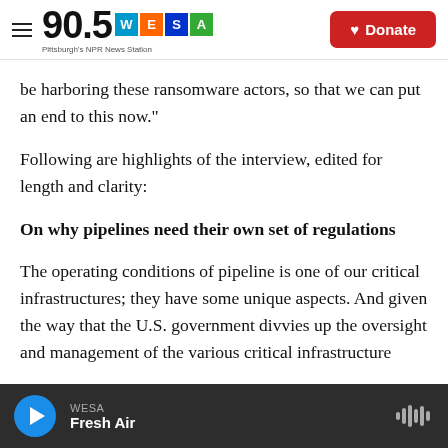90.5 WESA — Pittsburgh's NPR News Station | Donate
be harboring these ransomware actors, so that we can put an end to this now."
Following are highlights of the interview, edited for length and clarity:
On why pipelines need their own set of regulations
The operating conditions of pipeline is one of our critical infrastructures; they have some unique aspects. And given the way that the U.S. government divvies up the oversight and management of the various critical infrastructure
WESA — Fresh Air